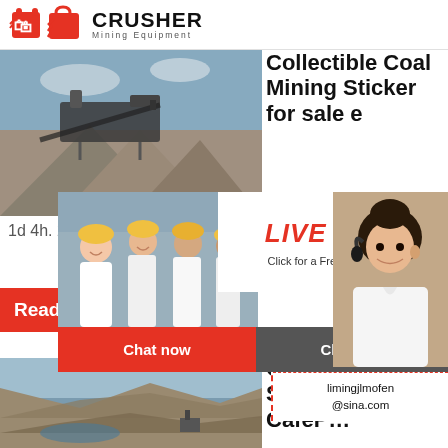[Figure (logo): Crusher Mining Equipment logo with red shopping bag icon and bold CRUSHER text]
[Figure (photo): Mining crusher equipment with gravel/aggregate piles at a quarry site]
Collectible Coal Mining Sticker for sale e…
[Figure (infographic): 24Hrs Online orange badge overlay]
1d 4h. 2 NI…
[Figure (photo): Live Chat popup with team of engineers in hard hats and female customer service agent with headset. Contains: LIVE CHAT, Click for a Free Consultation, Chat now and Chat later buttons]
[Figure (infographic): Red Read More button]
[Figure (infographic): Right sidebar: Need questions & suggestion? Chat Now, Enquiry, limingjlmofen@sina.com]
[Figure (photo): Open-pit quarry mining site with excavators]
Coal D… Sticker… CafeP…